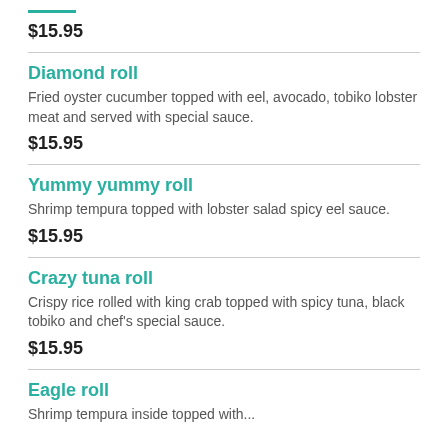$15.95
Diamond roll
Fried oyster cucumber topped with eel, avocado, tobiko lobster meat and served with special sauce.
$15.95
Yummy yummy roll
Shrimp tempura topped with lobster salad spicy eel sauce.
$15.95
Crazy tuna roll
Crispy rice rolled with king crab topped with spicy tuna, black tobiko and chef's special sauce.
$15.95
Eagle roll
Shrimp tempura inside topped with...